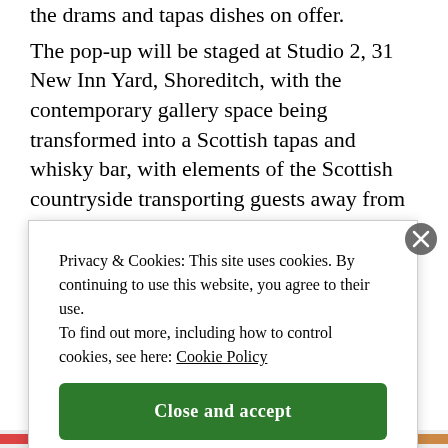the drams and tapas dishes on offer.
The pop-up will be staged at Studio 2, 31 New Inn Yard, Shoreditch, with the contemporary gallery space being transformed into a Scottish tapas and whisky bar, with elements of the Scottish countryside transporting guests away from city life.
Helen Stewart, The Scotch Malt Whisky Society's UK Brand Manager, said: "The single casks that we bottle give us a wide, ever-changing variety of flavours to play
Privacy & Cookies: This site uses cookies. By continuing to use this website, you agree to their use.
To find out more, including how to control cookies, see here: Cookie Policy
Close and accept